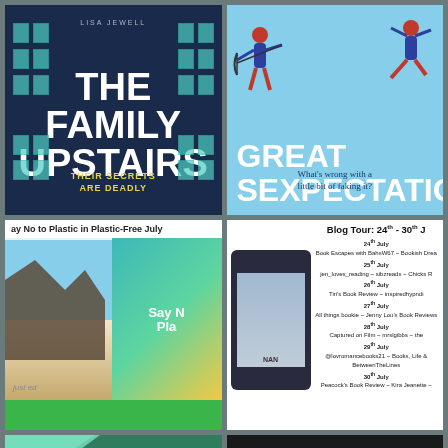[Figure (illustration): Book cover: 'The Family Upstairs' by Lisa Jewell. Dark blue building background with teal/green windows. Title in large white bold text, subtitle 'THEIR SECRETS ARE DEADLY' in yellow.]
[Figure (illustration): Book cover: 'Great Sexpectations' on light blue background with illustrated characters with bow and arrow. Tagline: 'What's wrong with a little bit of faking it?']
[Figure (illustration): Promotional image: 'Say No to Plastic in Plastic-Free July' with beach scene and colorful book covers. Green bar at bottom.]
[Figure (illustration): Blog Tour schedule: 24th - 30th J[uly]. Lists dates 24th through 30th July with blog names including Book Escapes with BahsW67, Bookish Drea, jen_loves_reading, sibzreads, Chicks R, Tiri's Book Review, inspiredhypndi, All things bookie, Jenny Lou's Book Reviews, Captured on Film, mrslgibbs, @lovromancebooks21, Books Life, BetweenTheLines, Peacock's Book Review, Kira Jeanette.]
[Figure (illustration): Partial green book/graphic with text 'HETHOD' partially visible, teal corner triangle]
[Figure (illustration): Dark/black image with white triangular shape at bottom center]